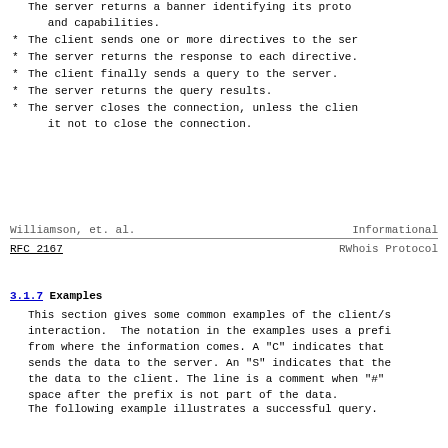The server returns a banner identifying its protocol and capabilities.
The client sends one or more directives to the server.
The server returns the response to each directive.
The client finally sends a query to the server.
The server returns the query results.
The server closes the connection, unless the client told it not to close the connection.
Williamson, et. al.    Informational
RFC 2167                          RWhois Protocol
3.1.7 Examples
This section gives some common examples of the client/server interaction. The notation in the examples uses a prefix from where the information comes. A "C" indicates that the client sends the data to the server. An "S" indicates that the server sends the data to the client. The line is a comment when "#" is used. The space after the prefix is not part of the data.
The following example illustrates a successful query.